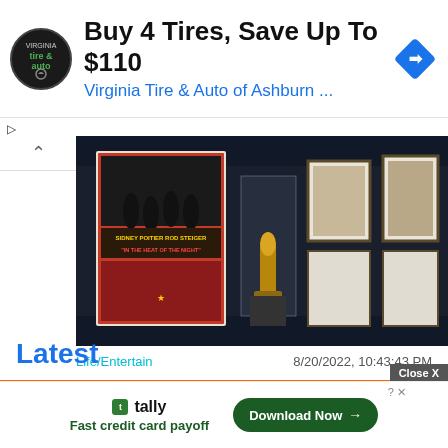[Figure (infographic): Advertisement banner: tire and auto logo, 'Buy 4 Tires, Save Up To $110', 'Virginia Tire & Auto of Ashburn ...', blue diamond navigation icon]
[Figure (photo): Museum exhibition photo showing framed movie posters including 'In the Heat of the Night', an Oscar statuette in a glass case, and other framed artwork on dark walls]
Life/Entertain
8/20/2022, 10:43:43 PM
An American exhibition digs into the history of Hollywood and "black cinema"
Latest
[Figure (infographic): Bottom advertisement: Tally app - 'Fast credit card payoff' with 'Download Now' button]